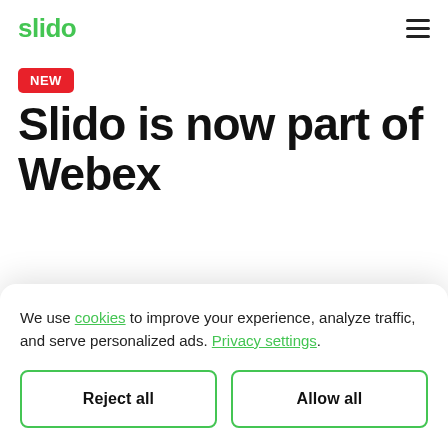slido
[Figure (logo): Slido logo in green text]
NEW
Slido is now part of Webex
We use cookies to improve your experience, analyze traffic, and serve personalized ads. Privacy settings.
Reject all
Allow all